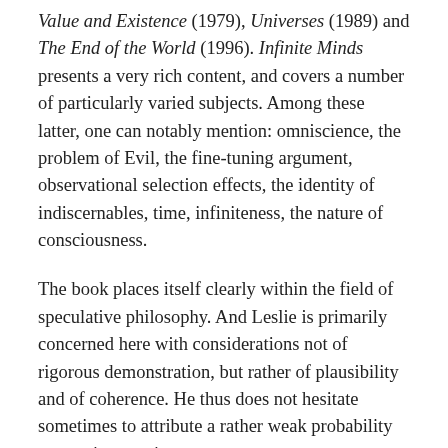Value and Existence (1979), Universes (1989) and The End of the World (1996). Infinite Minds presents a very rich content, and covers a number of particularly varied subjects. Among these latter, one can notably mention: omniscience, the problem of Evil, the fine-tuning argument, observational selection effects, the identity of indiscernables, time, infiniteness, the nature of consciousness.
The book places itself clearly within the field of speculative philosophy. And Leslie is primarily concerned here with considerations not of rigorous demonstration, but rather of plausibility and of coherence. He thus does not hesitate sometimes to attribute a rather weak probability to certain assertions.
Some readers may be rebutted from the beginning by the counter-intuitive assertion that galaxies, planets, animals, but also each of us and our surrounding objects, are mere structures among divine thoughts. One can think that such an